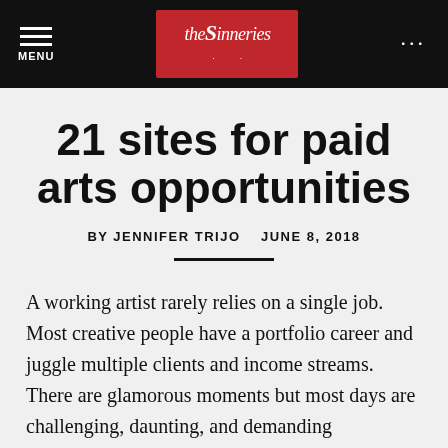[Figure (screenshot): Navigation bar with hamburger menu icon and MENU label on left, red logo box with stylized text in center, three dots on right]
21 sites for paid arts opportunities
BY JENNIFER TRIJO   JUNE 8, 2018
A working artist rarely relies on a single job. Most creative people have a portfolio career and juggle multiple clients and income streams. There are glamorous moments but most days are challenging, daunting, and demanding